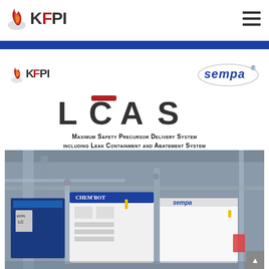[Figure (logo): KFPI logo with flame icon in header navigation bar]
[Figure (logo): KFPI small logo and SEMPA logo side by side below blue divider bar]
[Figure (logo): LCAS large logo with red accent bar over C]
Maximum Safety Precursor Delivery System including Leak Containment and Abatement System
[Figure (photo): Industrial facility photo showing CHEM'BOT and SEMPA branded equipment with piping and machinery. KFPI LCAS label visible on blue unit.]